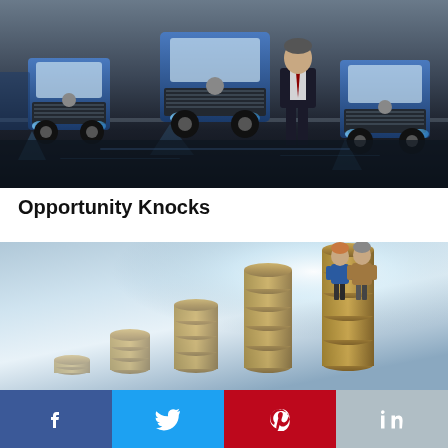[Figure (photo): Three large blue semi-trucks parked in a row on a dark wet surface with dramatic lighting; a man in a suit stands in front of the middle truck]
Opportunity Knocks
[Figure (photo): Two small figurines of elderly people standing on top of the tallest stack in a series of ascending coin stacks, against a soft blue background with bright light]
[Figure (other): Social media sharing bar with Facebook, Twitter, Pinterest, and LinkedIn buttons]